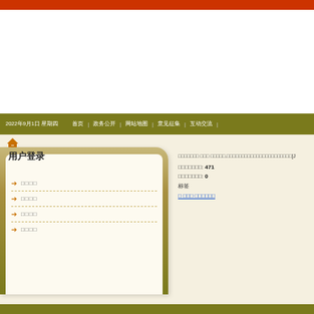Red top banner bar
2022年9月1日 星期四 | 首页 | 政务公开 | 网站地图 | 意见征集 | 互动交流 |
[Figure (illustration): Home/house icon in orange]
用户登录
→ □□□□
→ □□□□
→ □□□□
→ □□□□
□□□□□□□ □□□ □□□□□.□□□□□□□□□□□□□□□□□□□□□□[J
□□□□□□□: 471
□□□□□□□: 0
标签
□ □□□ □□□□□□